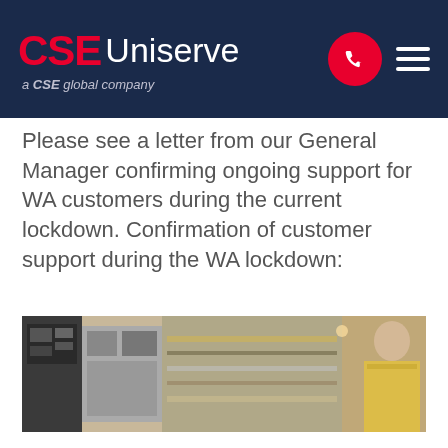CSE Uniserve — a CSE global company
Please see a letter from our General Manager confirming ongoing support for WA customers during the current lockdown. Confirmation of customer support during the WA lockdown:
[Figure (photo): Industrial/engineering setting showing electrical control panels and a worker in yellow high-visibility clothing, partially visible on the right side.]